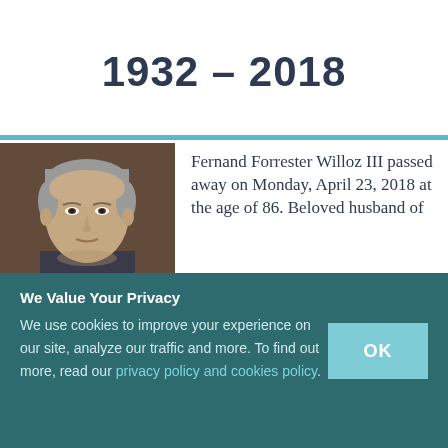1932 – 2018
[Figure (photo): Portrait photo of Fernand Forrester Willoz III, an older man with grey hair]
Fernand Forrester Willoz III passed away on Monday, April 23, 2018 at the age of 86. Beloved husband of
We Value Your Privacy
We use cookies to improve your experience on our site, analyze our traffic and more. To find out more, read our privacy policy and cookies policy.